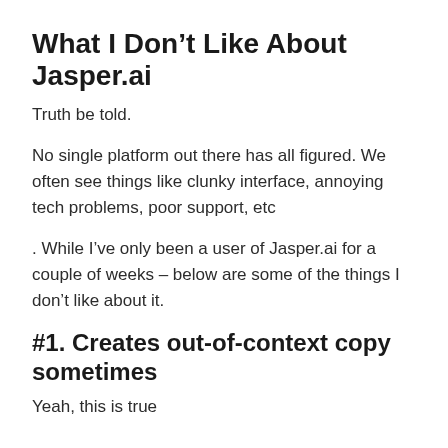What I Don’t Like About Jasper.ai
Truth be told.
No single platform out there has all figured. We often see things like clunky interface, annoying tech problems, poor support, etc
. While I’ve only been a user of Jasper.ai for a couple of weeks – below are some of the things I don’t like about it.
#1. Creates out-of-context copy sometimes
Yeah, this is true